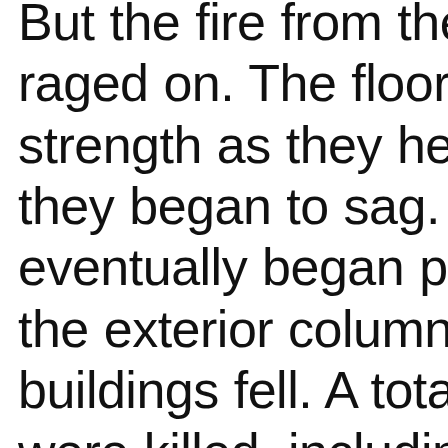But the fire from the raged on. The floor strength as they hea they began to sag. T eventually began pu the exterior columns buildings fell. A total were killed, includin firefighters.